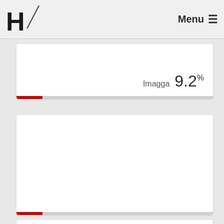H/ Menu ☰
[Figure (screenshot): White card with a red/gray progress bar at the bottom showing Imagga 9.2% label]
Imagga 9.2%
[Figure (screenshot): Large white card with a red/gray progress bar at the bottom]
Imagga 9.2%